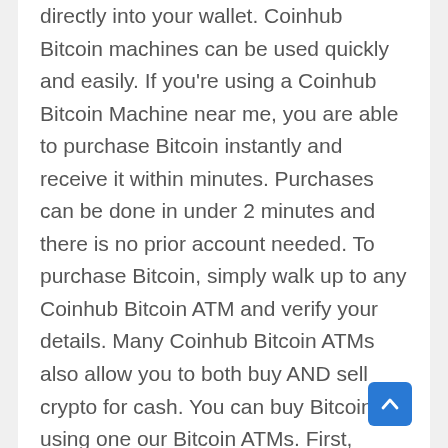directly into your wallet. Coinhub Bitcoin machines can be used quickly and easily. If you're using a Coinhub Bitcoin Machine near me, you are able to purchase Bitcoin instantly and receive it within minutes. Purchases can be done in under 2 minutes and there is no prior account needed. To purchase Bitcoin, simply walk up to any Coinhub Bitcoin ATM and verify your details. Many Coinhub Bitcoin ATMs also allow you to both buy AND sell crypto for cash. You can buy Bitcoin using one our Bitcoin ATMs. First, locate the nearest Bitcoin ATM in your area by visiting our Coinhub Bitcoin ATM Locator. Walk up to the machine and enter your phone number. The machine will verify your phone using a code and scan the bitcoin wallet. Enter bills one bill at a time for the amount you would like to purchase and confirm the bitcoin atm prior to purchase. The bitcoin is instantly sent to your wallet. The daily limit for buying Bitcoin is $25,000. There are